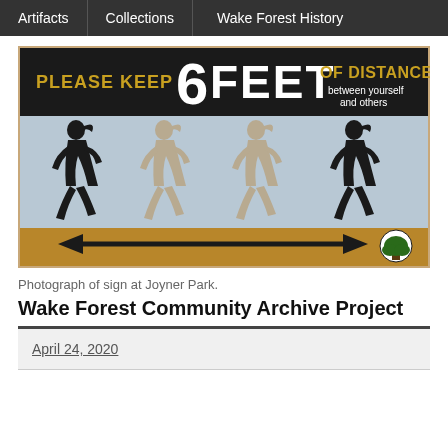Artifacts | Collections | Wake Forest History
[Figure (photo): Photograph of a social distancing sign at Joyner Park reading 'PLEASE KEEP 6 FEET OF DISTANCE between yourself and others' with silhouettes of runners and a double-headed arrow.]
Photograph of sign at Joyner Park.
Wake Forest Community Archive Project
April 24, 2020